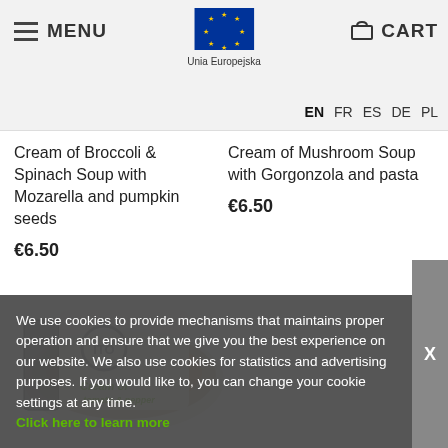MENU | Unia Europejska | CART | EN FR ES DE PL
Cream of Broccoli & Spinach Soup with Mozarella and pumpkin seeds
€6.50
Cream of Mushroom Soup with Gorgonzola and pasta
€6.50
[Figure (photo): Product photo of a packaged meal labeled 'Cream of tomato & pepper']
We use cookies to provide mechanisms that maintains proper operation and ensure that we give you the best experience on our website. We also use cookies for statistics and advertising purposes. If you would like to, you can change your cookie settings at any time. Click here to learn more